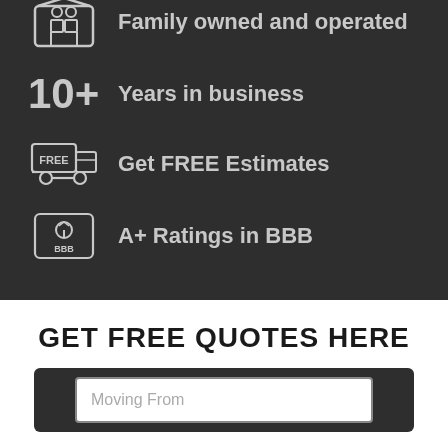Family owned and operated
10+ Years in business
Get FREE Estimates
A+ Ratings in BBB
GET FREE QUOTES HERE
Moving From